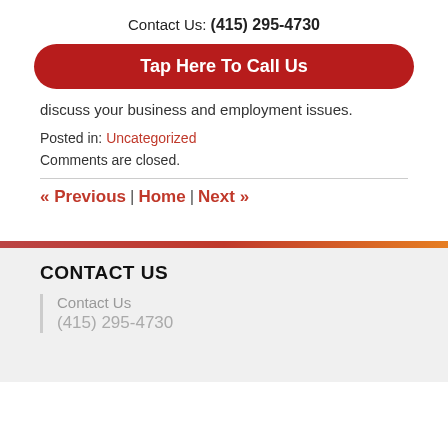Contact Us: (415) 295-4730
[Figure (other): Red rounded button with white bold text: Tap Here To Call Us]
discuss your business and employment issues.
Posted in: Uncategorized
Comments are closed.
« Previous | Home | Next »
CONTACT US
Contact Us
(415) 295-4730